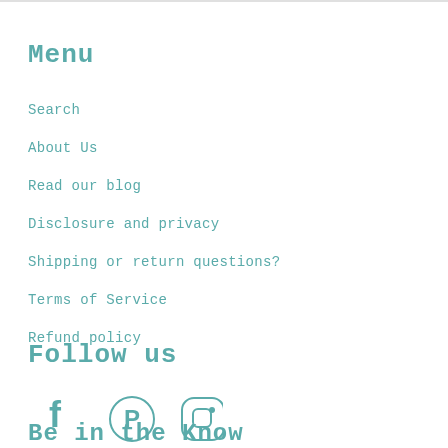Menu
Search
About Us
Read our blog
Disclosure and privacy
Shipping or return questions?
Terms of Service
Refund policy
Follow us
[Figure (illustration): Social media icons: Facebook, Pinterest, Instagram]
Be in the Know